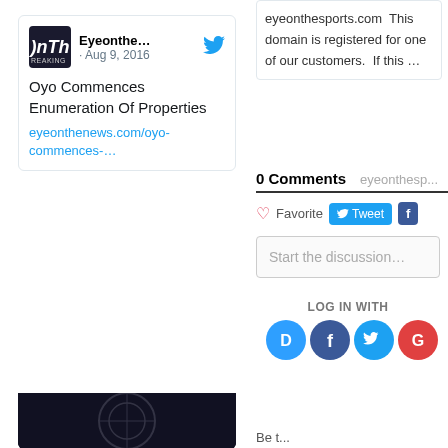[Figure (screenshot): Tweet card from Eyeonthe... account dated Aug 9, 2016 showing article 'Oyo Commences Enumeration Of Properties' with link eyeonthenews.com/oyo-commences-...]
eyeonthesports.com  This domain is registered for one of our customers.  If this …
0 Comments    eyeonthesp...
Favorite   Tweet   f
Start the discussion…
LOG IN WITH
[Figure (illustration): Social login icons: Disqus (blue), Facebook (dark blue), Twitter (light blue), Google (red)]
Be t...